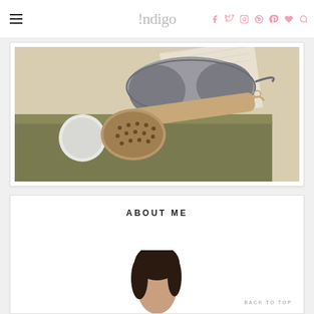!ndigo [social icons: facebook, twitter, instagram, pinterest, heart, search]
[Figure (photo): Flat-lay photo of wellness/self-care products on a beige and olive surface: a grey silk sleep mask, a wooden long-handled body brush, and a white marble roller, with a book in the background.]
ABOUT ME
[Figure (photo): Partial portrait photo of a person with dark hair, cropped at the bottom of the page.]
BACK TO TOP